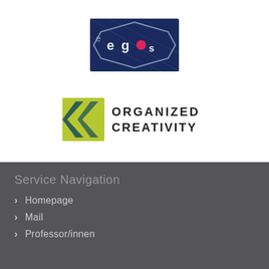[Figure (logo): EGES logo — dark navy hexagon/badge shape with stylized letters 'e', 'g', 'e', 's' in white and a pink/red circle accent, resembling a folded tag or label]
[Figure (logo): Organized Creativity logo — green/teal chevron arrow shape on the left, with bold spaced text ORGANIZED CREATIVITY on the right in dark charcoal]
Service Navigation
Homepage
Mail
Professor/innen